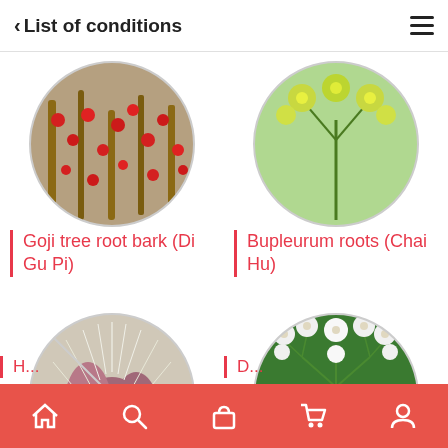< List of conditions
[Figure (photo): Circular photo of Goji tree with red berries on brown branches]
Goji tree root bark (Di Gu Pi)
[Figure (photo): Circular photo of Bupleurum plant with yellow-green flowers]
Bupleurum roots (Chai Hu)
[Figure (photo): Circular photo of a hairy cactus-like plant with pink-purple tones]
[Figure (photo): Circular photo of white flower clusters (umbelliferous plant) on green leaves]
Home | Search | Shop | Cart | Profile